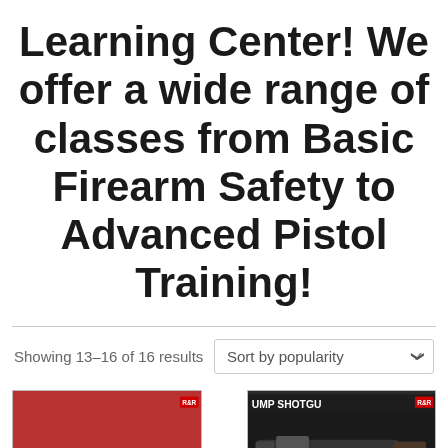Learning Center! We offer a wide range of classes from Basic Firearm Safety to Advanced Pistol Training!
Showing 13–16 of 16 results
[Figure (photo): Photo of a silver handgun on a red background]
[Figure (photo): Photo of a pump shotgun with orange shells, with a 'Call Us Now' overlay button]